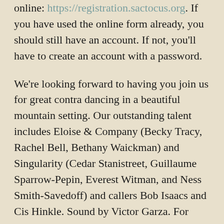online: https://registration.sactocus.org. If you have used the online form already, you should still have an account. If not, you'll have to create an account with a password.
We're looking forward to having you join us for great contra dancing in a beautiful mountain setting. Our outstanding talent includes Eloise & Company (Becky Tracy, Rachel Bell, Bethany Waickman) and Singularity (Cedar Stanistreet, Guillaume Sparrow-Pepin, Everest Witman, and Ness Smith-Savedoff) and callers Bob Isaacs and Cis Hinkle. Sound by Victor Garza. For more details, see our camp web page.
If you're not already convinced that you need to attend this marvelous residential dance weekend, we will encourage you with a discounted